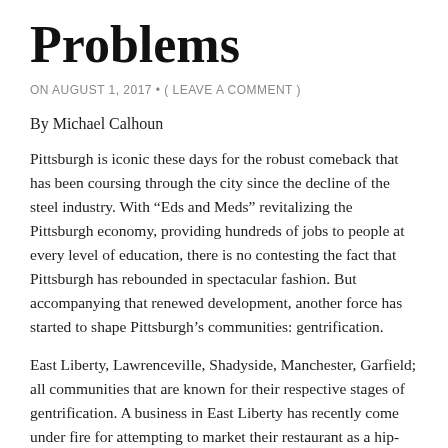Problems
ON AUGUST 1, 2017 • ( LEAVE A COMMENT )
By Michael Calhoun
Pittsburgh is iconic these days for the robust comeback that has been coursing through the city since the decline of the steel industry. With "Eds and Meds" revitalizing the Pittsburgh economy, providing hundreds of jobs to people at every level of education, there is no contesting the fact that Pittsburgh has rebounded in spectacular fashion. But accompanying that renewed development, another force has started to shape Pittsburgh's communities: gentrification.
East Liberty, Lawrenceville, Shadyside, Manchester, Garfield; all communities that are known for their respective stages of gentrification. A business in East Liberty has recently come under fire for attempting to market their restaurant as a hip-hop themed fried chicken restaurant, which many